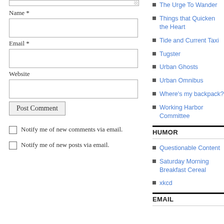Name *
Email *
Website
Post Comment
Notify me of new comments via email.
Notify me of new posts via email.
The Urge To Wander
Things that Quicken the Heart
Tide and Current Taxi
Tugster
Urban Ghosts
Urban Omnibus
Where's my backpack?
Working Harbor Committee
HUMOR
Questionable Content
Saturday Morning Breakfast Cereal
xkcd
EMAIL